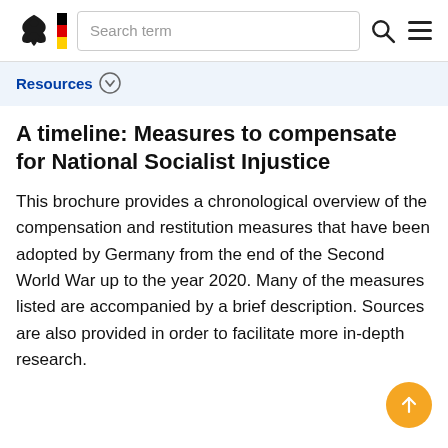Search term
Resources
A timeline: Measures to compensate for National Socialist Injustice
This brochure provides a chronological overview of the compensation and restitution measures that have been adopted by Germany from the end of the Second World War up to the year 2020. Many of the measures listed are accompanied by a brief description. Sources are also provided in order to facilitate more in-depth research.